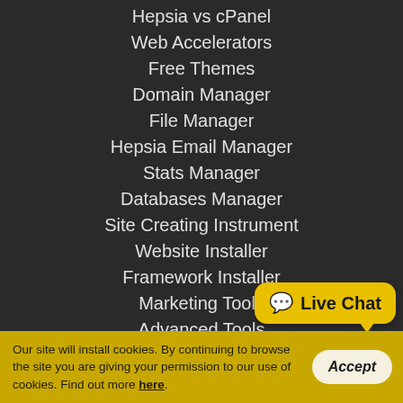Hepsia vs cPanel
Web Accelerators
Free Themes
Domain Manager
File Manager
Hepsia Email Manager
Stats Manager
Databases Manager
Site Creating Instrument
Website Installer
Framework Installer
Marketing Tools
Advanced Tools
Support
Support
[Figure (other): Live Chat button bubble in gold/yellow color with speech bubble icon and text 'Live Chat']
Our site will install cookies. By continuing to browse the site you are giving your permission to our use of cookies. Find out more here.